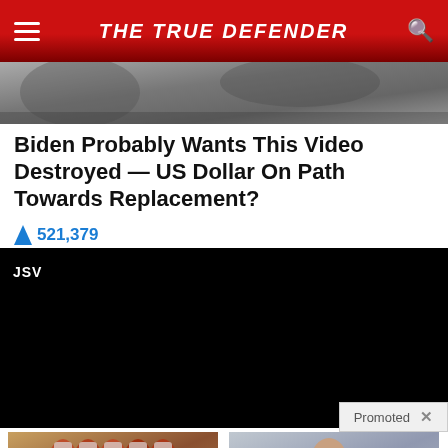THE TRUE DEFENDER
[Figure (photo): Partial article hero image strip at top]
Biden Probably Wants This Video Destroyed — US Dollar On Path Towards Replacement?
🔥 521,379
JSV
[Figure (screenshot): Black video player area with Promoted label and X button]
Promoted ×
[Figure (photo): Bottles of prescription pills/blood pressure medication]
Why Doctors In The Know No Longer Prescribe Blood Pressure Meds
🔥 45,221
[Figure (photo): Woman (Nancy Pelosi resemblance) smiling in front of industrial building]
Nancy Pelosi Wants This Video Destroyed — Watch Now Before It's Banned
🔥 164,378